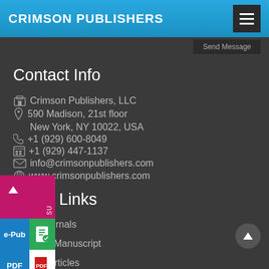CRIMSON PUBLISHERS
Send Message
Contact Info
Crimson Publishers, LLC
590 Madison, 21st floor
New York, NY 10022, USA
+1 (929) 600-8049
+1 (929) 447-1137
info@crimsonpublishers.com
www.crimsonpublishers.com
Quick Links
> Our Journals
> Submit Manuscript
> Video Articles
> e-Books